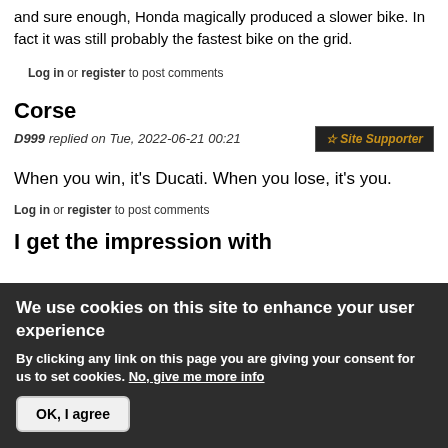and sure enough, Honda magically produced a slower bike. In fact it was still probably the fastest bike on the grid.
Log in or register to post comments
Corse
D999 replied on Tue, 2022-06-21 00:21 ☆ Site Supporter
When you win, it's Ducati. When you lose, it's you.
Log in or register to post comments
I get the impression with
We use cookies on this site to enhance your user experience
By clicking any link on this page you are giving your consent for us to set cookies. No, give me more info
OK, I agree